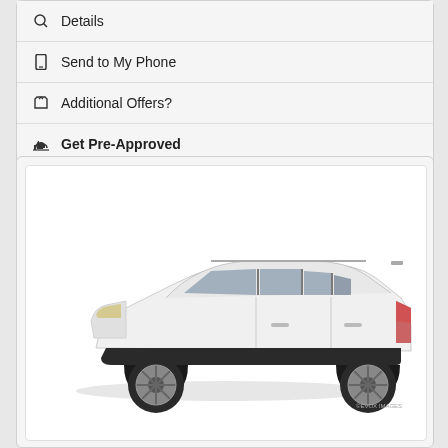Details
Send to My Phone
Additional Offers?
Get Pre-Approved
[Figure (photo): White SUV (Ford Escape) shown in side profile view on white background. Watermark reads ©EVOX IMAGES in bottom right corner.]